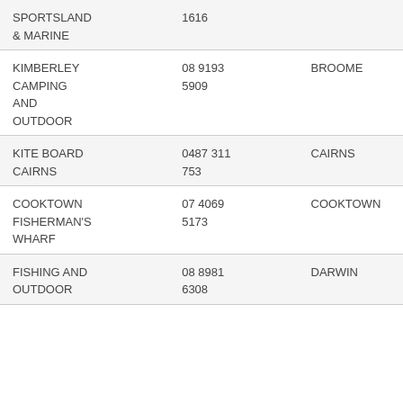| Name | Phone | Location |
| --- | --- | --- |
| SPORTSLAND & MARINE | 1616 |  |
| KIMBERLEY CAMPING AND OUTDOOR | 08 9193 5909 | BROOME |
| KITE BOARD CAIRNS | 0487 311 753 | CAIRNS |
| COOKTOWN FISHERMAN'S WHARF | 07 4069 5173 | COOKTOWN |
| FISHING AND OUTDOOR | 08 8981 6308 | DARWIN |